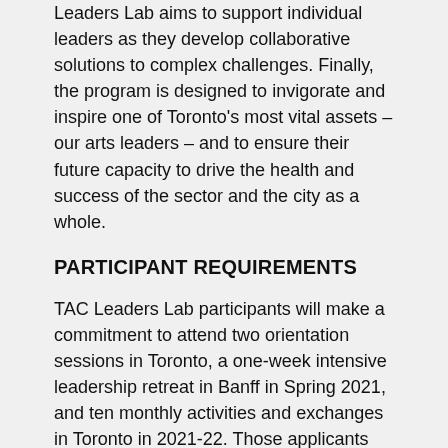Leaders Lab aims to support individual leaders as they develop collaborative solutions to complex challenges. Finally, the program is designed to invigorate and inspire one of Toronto's most vital assets – our arts leaders – and to ensure their future capacity to drive the health and success of the sector and the city as a whole.
PARTICIPANT REQUIREMENTS
TAC Leaders Lab participants will make a commitment to attend two orientation sessions in Toronto, a one-week intensive leadership retreat in Banff in Spring 2021, and ten monthly activities and exchanges in Toronto in 2021-22. Those applicants with full time employment are asked to submit a letter of support from their employer confirming that they will be granted paid time off to attend the week in Banff and the monthly Toronto sessions. Employed applicants who do not have the support of their employer are still eligible to participate in the program but must commit to making the necessary arrangements to take leave from work as required.
WHAT TO EXPECT
Through a process led by facilitators from across disciplines and